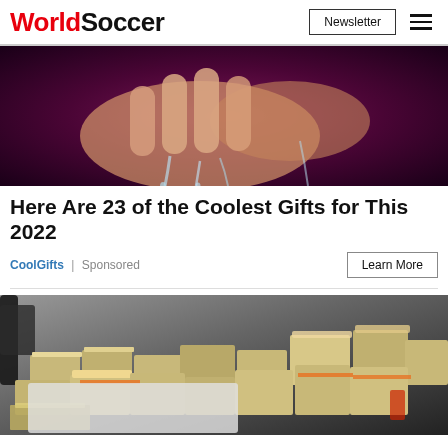WorldSoccer | Newsletter
[Figure (photo): Close-up photo of hands washing under running water against a dark purple/maroon background]
Here Are 23 of the Coolest Gifts for This 2022
CoolGifts | Sponsored
[Figure (photo): Photo of stacks of bundled US dollar bills piled on a table with a chair visible in the background, partially obscured by a light gray rectangle]